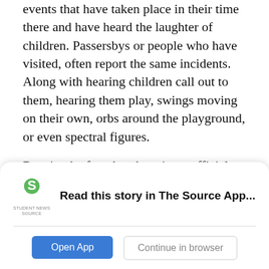Children's Playground and have reported strange events that have taken place in their time there and have heard the laughter of children. Passersbys or people who have visited, often report the same incidents. Along with hearing children call out to them, hearing them play, swings moving on their own, orbs around the playground, or even spectral figures.
Despite the fact that there is no official count of how many children died or were buried in Huntsville during the pandemic, the number could be into the hundreds. People are skeptical about whether or not the playground is haunted. No matter if you believe it or not, 'Dead Children's Playground' is one of Alabama's
[Figure (logo): Student News Source logo — green stylized 'S' above text reading 'STUDENT NEWS SOURCE']
Read this story in The Source App...
Open App
Continue in browser